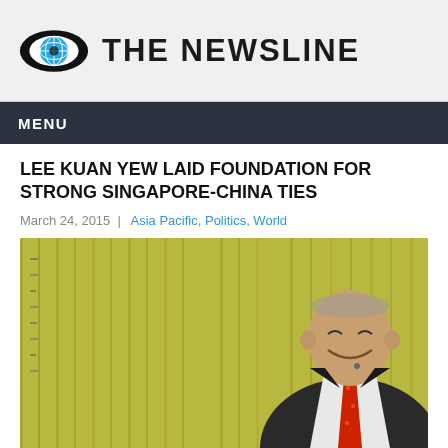THE NEWSLINE
MENU
LEE KUAN YEW LAID FOUNDATION FOR STRONG SINGAPORE-CHINA TIES
March 24, 2015 | Asia Pacific, Politics, World
[Figure (photo): Elderly Asian man in dark suit and red tie, smiling, seated against a blurred yellow background with text/characters]